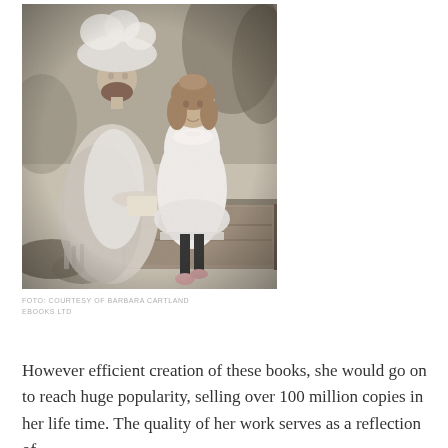[Figure (photo): Black and white vintage photograph of two females — a woman wearing a large feathered hat and white lace dress holding a book, and a young girl in a white dress sitting on a stone ledge beside her, with a painted studio backdrop behind them.]
FOTO: COURTESY OF BARBARA CARTLAND EBOOKS LTD
However efficient creation of these books, she would go on to reach huge popularity, selling over 100 million copies in her life time. The quality of her work serves as a reflection of